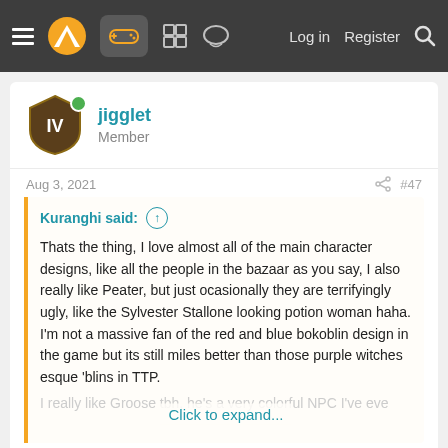Navigation bar with logo, icons, Log in, Register, Search
jigglet
Member
Aug 3, 2021  #47
Kuranghi said: ↑

Thats the thing, I love almost all of the main character designs, like all the people in the bazaar as you say, I also really like Peater, but just ocasionally they are terrifyingly ugly, like the Sylvester Stallone looking potion woman haha. I'm not a massive fan of the red and blue bokoblin design in the game but its still miles better than those purple witches esque 'blins in TTP.

I really like Groose tbh, he's a very colorful NPC I've eve...
Click to expand...
Yeah there are some freakish ones that's for sure. Nightmarish stuff.